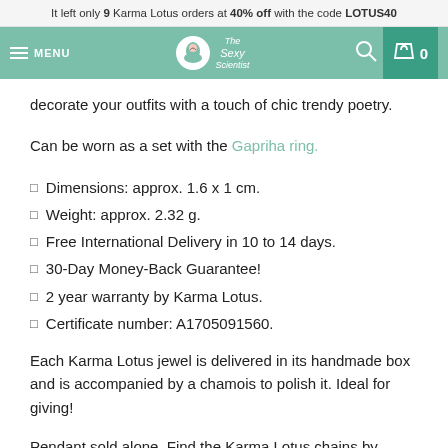It left only 9 Karma Lotus orders at 40% off with the code LOTUS40
MENU | The Sexy Scientist | 0
decorate your outfits with a touch of chic trendy poetry.
Can be worn as a set with the Gapriha ring.
Dimensions: approx. 1.6 x 1 cm.
Weight: approx. 2.32 g.
Free International Delivery in 10 to 14 days.
30-Day Money-Back Guarantee!
2 year warranty by Karma Lotus.
Certificate number: A1705091560.
Each Karma Lotus jewel is delivered in its handmade box and is accompanied by a chamois to polish it. Ideal for giving!
Pendant sold alone. Find the Karma Lotus chains by clicking here!